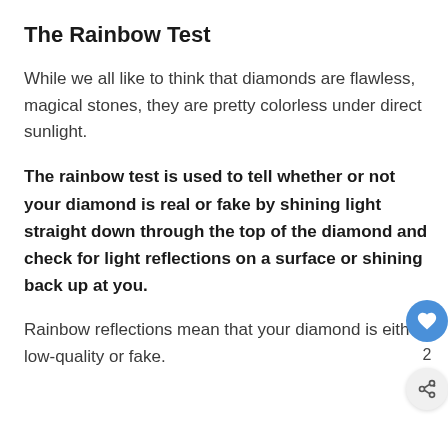The Rainbow Test
While we all like to think that diamonds are flawless, magical stones, they are pretty colorless under direct sunlight.
The rainbow test is used to tell whether or not your diamond is real or fake by shining light straight down through the top of the diamond and check for light reflections on a surface or shining back up at you.
Rainbow reflections mean that your diamond is either low-quality or fake.